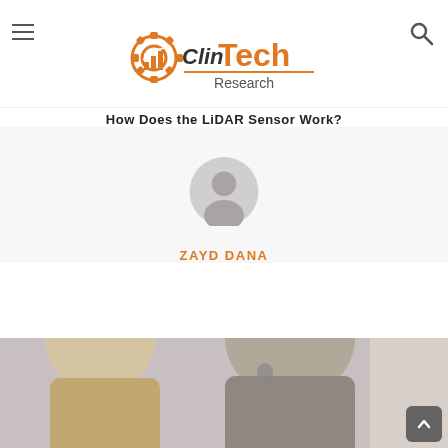ClinTech Research
How Does the LiDAR Sensor Work?
[Figure (illustration): Default user avatar icon — grey silhouette of a person inside a circle, centered on a light grey background card. Below the avatar is the author name ZAYD DANA in orange uppercase letters. Below a dashed divider is a link icon on the left and an arrow with ZAYD DANA in orange on the right.]
YOU MIGHT ALSO LIKE
[Figure (photo): Photo showing a healthcare professional fitting a hearing aid on an older man with grey hair. Cropped to show heads and shoulders.]